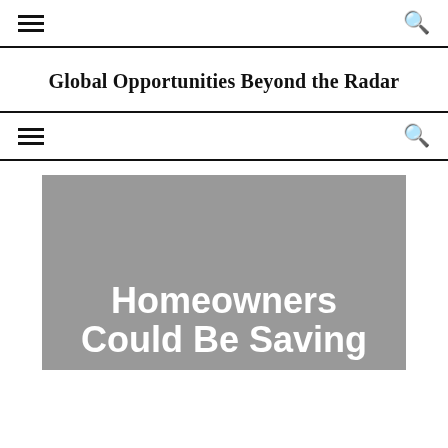≡  🔍
Global Opportunities Beyond the Radar
≡  🔍
[Figure (illustration): Gray placeholder image with white bold text reading 'Homeowners Could Be Saving' on a gray background]